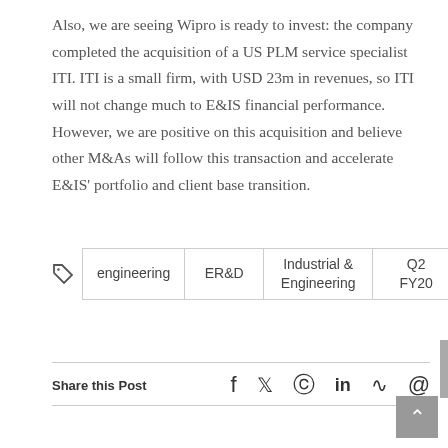Also, we are seeing Wipro is ready to invest: the company completed the acquisition of a US PLM service specialist ITI. ITI is a small firm, with USD 23m in revenues, so ITI will not change much to E&IS financial performance. However, we are positive on this acquisition and believe other M&As will follow this transaction and accelerate E&IS' portfolio and client base transition.
| engineering | ER&D | Industrial &
Engineering | Q2
FY20 | Wipro |
Share this Post